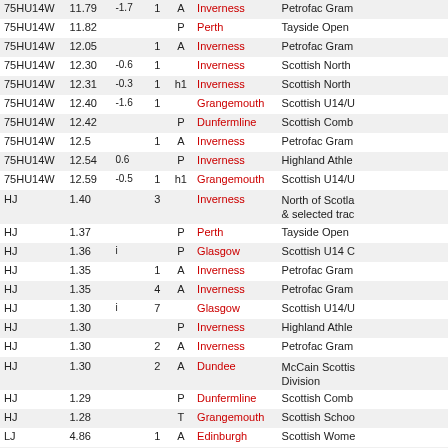| Event | Perf | Wind | Pos | Grade | Venue | Meet |
| --- | --- | --- | --- | --- | --- | --- |
| 75HU14W | 11.79 | -1.7 | 1 | A | Inverness | Petrofac Gram |
| 75HU14W | 11.82 |  |  | P | Perth | Tayside Open |
| 75HU14W | 12.05 |  | 1 | A | Inverness | Petrofac Gram |
| 75HU14W | 12.30 | -0.6 | 1 |  | Inverness | Scottish North |
| 75HU14W | 12.31 | -0.3 | 1 | h1 | Inverness | Scottish North |
| 75HU14W | 12.40 | -1.6 | 1 |  | Grangemouth | Scottish U14/U |
| 75HU14W | 12.42 |  |  | P | Dunfermline | Scottish Comb |
| 75HU14W | 12.5 |  | 1 | A | Inverness | Petrofac Gram |
| 75HU14W | 12.54 | 0.6 |  | P | Inverness | Highland Athle |
| 75HU14W | 12.59 | -0.5 | 1 | h1 | Grangemouth | Scottish U14/U |
| HJ | 1.40 |  | 3 |  | Inverness | North of Scotla & selected trac |
| HJ | 1.37 |  |  | P | Perth | Tayside Open |
| HJ | 1.36 | i |  | P | Glasgow | Scottish U14 C |
| HJ | 1.35 |  | 1 | A | Inverness | Petrofac Gram |
| HJ | 1.35 |  | 4 | A | Inverness | Petrofac Gram |
| HJ | 1.30 | i | 7 |  | Glasgow | Scottish U14/U |
| HJ | 1.30 |  |  | P | Inverness | Highland Athle |
| HJ | 1.30 |  | 2 | A | Inverness | Petrofac Gram |
| HJ | 1.30 |  | 2 | A | Dundee | McCain Scottis Division |
| HJ | 1.29 |  |  | P | Dunfermline | Scottish Comb |
| HJ | 1.28 |  |  | T | Grangemouth | Scottish Schoo |
| LJ | 4.86 |  | 1 | A | Edinburgh | Scottish Wome |
| LJ | 4.69 |  | 5 | A | Inverness | Highland Athle |